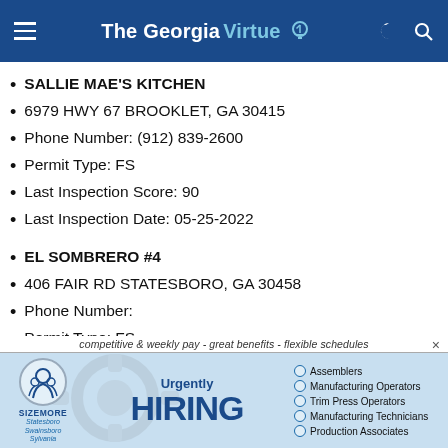The Georgia Virtue
SALLIE MAE'S KITCHEN
6979 HWY 67 BROOKLET, GA 30415
Phone Number: (912) 839-2600
Permit Type: FS
Last Inspection Score: 90
Last Inspection Date: 05-25-2022
EL SOMBRERO #4
406 FAIR RD STATESBORO, GA 30458
Phone Number:
Permit Type: FS
Last Inspection Score: 94
[Figure (infographic): Sizemore staffing advertisement banner: 'competitive & weekly pay - great benefits - flexible schedules', Urgently HIRING, positions: Assemblers, Manufacturing Operators, Trim Press Operators, Manufacturing Technicians, Production Associates. Locations: Statesboro, Swainsboro, Sylvania.]